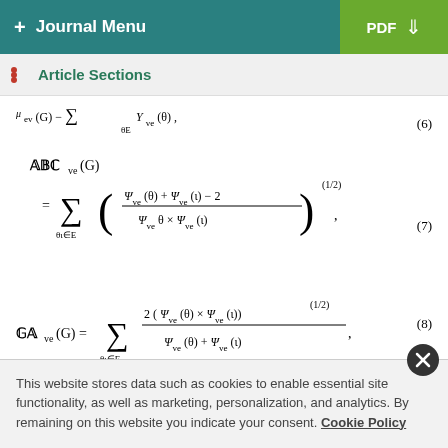+ Journal Menu | PDF
Article Sections
This website stores data such as cookies to enable essential site functionality, as well as marketing, personalization, and analytics. By remaining on this website you indicate your consent. Cookie Policy